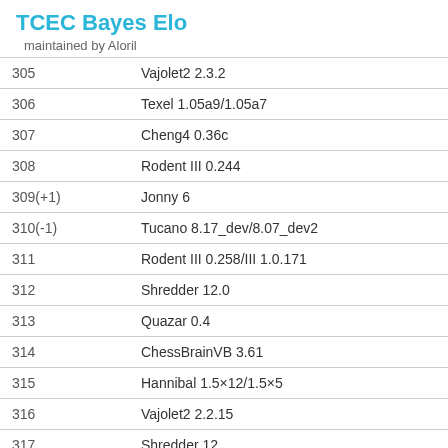TCEC Bayes Elo
maintained by Aloril
| Rank | Engine |
| --- | --- |
| 305 | Vajolet2 2.3.2 |
| 306 | Texel 1.05a9/1.05a7 |
| 307 | Cheng4 0.36c |
| 308 | Rodent III 0.244 |
| 309(+1) | Jonny 6 |
| 310(-1) | Tucano 8.17_dev/8.07_dev2 |
| 311 | Rodent III 0.258/III 1.0.171 |
| 312 | Shredder 12.0 |
| 313 | Quazar 0.4 |
| 314 | ChessBrainVB 3.61 |
| 315 | Hannibal 1.5×12/1.5×5 |
| 316 | Vajolet2 2.2.15 |
| 317 | Shredder 12 |
| 318 | Komodo 4119 |